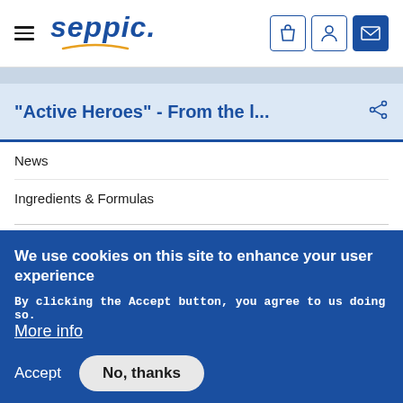SEPPIC — navigation header with hamburger menu, logo, and icons (bag, person, mail)
"Active Heroes" - From the l...
News
Ingredients & Formulas
We use cookies on this site to enhance your user experience
By clicking the Accept button, you agree to us doing so. More info
Accept   No, thanks